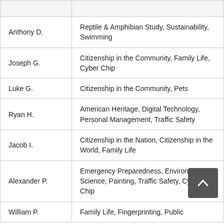| Name | Merit Badges |
| --- | --- |
| Anthony D. | Reptile & Amphibian Study, Sustainability, Swimming |
| Joseph G. | Citizenship in the Community, Family Life, Cyber Chip |
| Luke G. | Citizenship in the Community, Pets |
| Ryan H. | American Heritage, Digital Technology, Personal Management, Traffic Safety |
| Jacob I. | Citizenship in the Nation, Citizenship in the World, Family Life |
| Alexander P. | Emergency Preparedness, Environmental Science, Painting, Traffic Safety, Cyber Chip |
| William P. | Family Life, Fingerprinting, Public… |